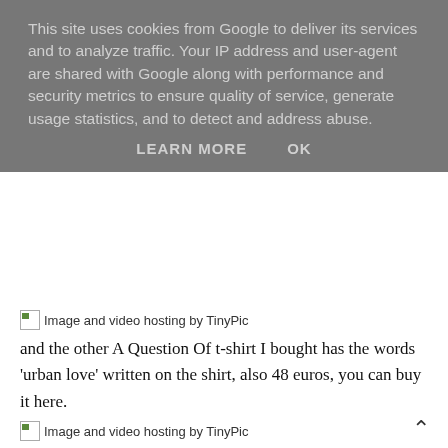This site uses cookies from Google to deliver its services and to analyze traffic. Your IP address and user-agent are shared with Google along with performance and security metrics to ensure quality of service, generate usage statistics, and to detect and address abuse.
LEARN MORE   OK
[Figure (other): Broken image placeholder: Image and video hosting by TinyPic]
and the other A Question Of t-shirt I bought has the words 'urban love' written on the shirt, also 48 euros, you can buy it here.
[Figure (other): Broken image placeholder: Image and video hosting by TinyPic]
I really love these t-shirts and think they are such a good investment, and I am starting to really like environmentally friendly fashion!
What do you think of A Question Of? are you inspired to be more aware when your buying new clothes now? Will you really have a look at where your clothing is coming from? What do you think?